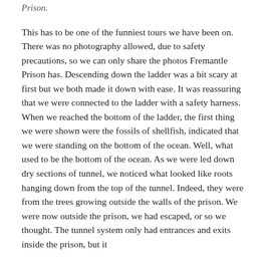Prison.
This has to be one of the funniest tours we have been on. There was no photography allowed, due to safety precautions, so we can only share the photos Fremantle Prison has. Descending down the ladder was a bit scary at first but we both made it down with ease. It was reassuring that we were connected to the ladder with a safety harness. When we reached the bottom of the ladder, the first thing we were shown were the fossils of shellfish, indicated that we were standing on the bottom of the ocean. Well, what used to be the bottom of the ocean. As we were led down dry sections of tunnel, we noticed what looked like roots hanging down from the top of the tunnel. Indeed, they were from the trees growing outside the walls of the prison. We were now outside the prison, we had escaped, or so we thought. The tunnel system only had entrances and exits inside the prison, but it